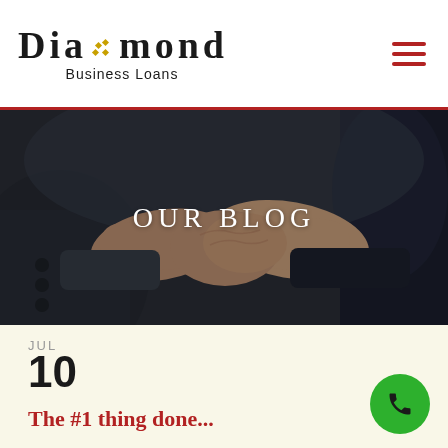Diamond Business Loans
[Figure (photo): Two business people shaking hands, dark background. Centered white text reads 'OUR BLOG'.]
OUR BLOG
JUL
10
The #1 thing done...